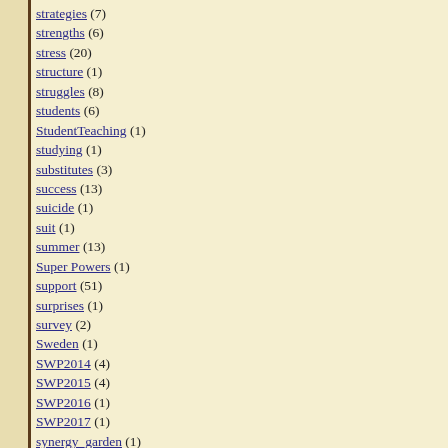strategies (7)
strengths (6)
stress (20)
structure (1)
struggles (8)
students (6)
StudentTeaching (1)
studying (1)
substitutes (3)
success (13)
suicide (1)
suit (1)
summer (13)
Super Powers (1)
support (51)
surprises (1)
survey (2)
Sweden (1)
SWP2014 (4)
SWP2015 (4)
SWP2016 (1)
SWP2017 (1)
synergy_garden (1)
talents (2)
Tallinn (1)
task analysis (1)
tasks (1)
teach (1)
teacher (1)